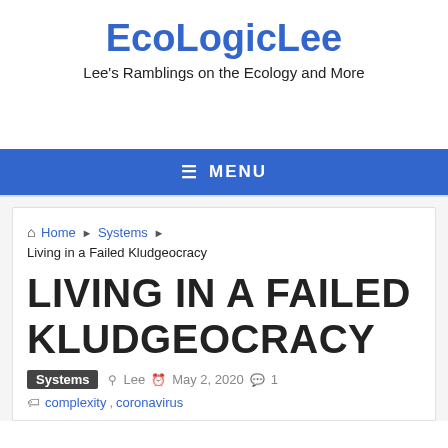EcoLogicLee
Lee's Ramblings on the Ecology and More
≡ MENU
Home ▶ Systems ▶ Living in a Failed Kludgeocracy
LIVING IN A FAILED KLUDGEOCRACY
Systems  Lee  May 2, 2020  1
complexity, coronavirus